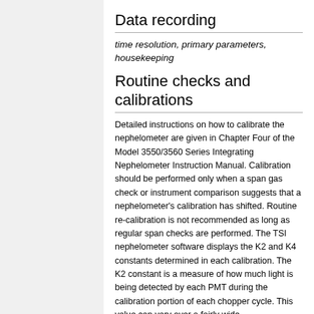Data recording
time resolution, primary parameters, housekeeping
Routine checks and calibrations
Detailed instructions on how to calibrate the nephelometer are given in Chapter Four of the Model 3550/3560 Series Integrating Nephelometer Instruction Manual.  Calibration should be performed only when a span gas check or instrument comparison suggests that a nephelometer's calibration has shifted.  Routine re-calibration is not recommended as long as regular span checks are performed.  The TSI nephelometer software displays the K2 and K4 constants determined in each calibration.  The K2 constant is a measure of how much light is being detected by each PMT during the calibration portion of each chopper cycle.  This value can vary over a fairly wide